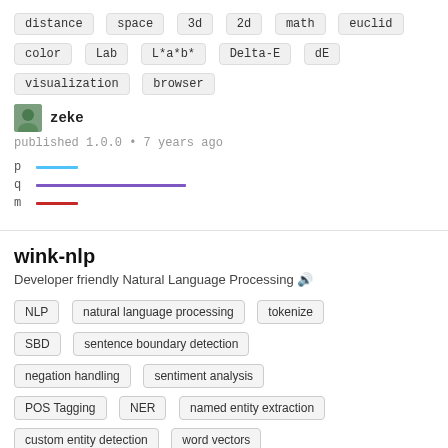distance  space  3d  2d  math  euclid
color  Lab  L*a*b*  Delta-E  dE
visualization  browser
zeke
published 1.0.0 • 7 years ago
[Figure (other): Bar chart with three colored horizontal lines labeled p (blue, short), q (purple, long), m (red, short)]
wink-nlp
Developer friendly Natural Language Processing 🔊
NLP  natural language processing  tokenize
SBD  sentence boundary detection
negation handling  sentiment analysis
POS Tagging  NER  named entity extraction
custom entity detection  word vectors